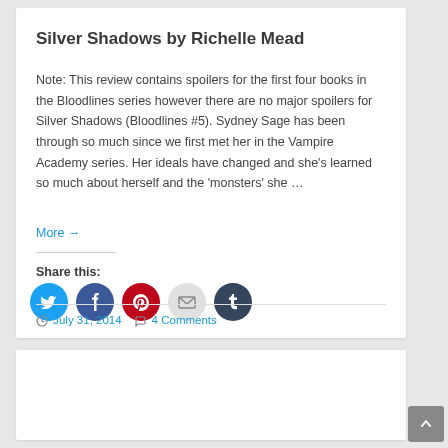Silver Shadows by Richelle Mead
Note: This review contains spoilers for the first four books in the Bloodlines series however there are no major spoilers for Silver Shadows (Bloodlines #5). Sydney Sage has been through so much since we first met her in the Vampire Academy series. Her ideals have changed and she’s learned so much about herself and the ‘monsters’ she …
More →
Share this:
[Figure (infographic): Row of five social share icon circles: Twitter (blue), Facebook (dark blue), Pinterest (red), Email (light grey), Tumblr (dark navy)]
July 31, 2014   4 Comments
Book Review: Secret by Brigid Kemmerer